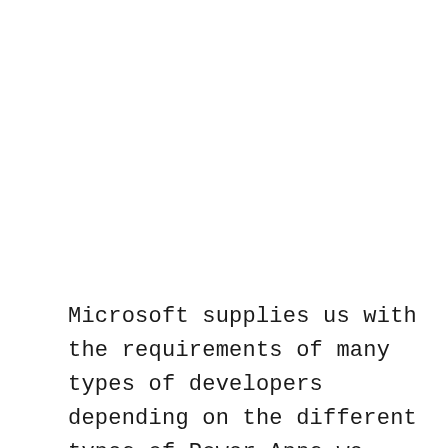Microsoft supplies us with the requirements of many types of developers depending on the different types of Power Apps we create, such as: